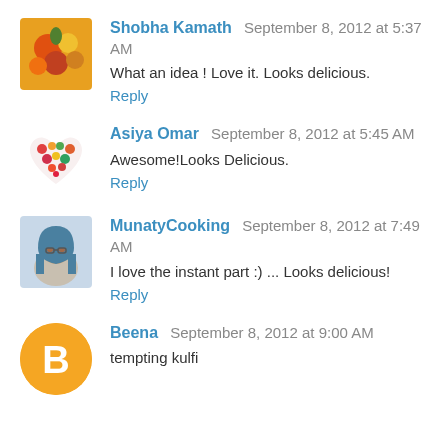[Figure (photo): Avatar photo of Shobha Kamath showing colorful fruits/vegetables]
Shobha Kamath September 8, 2012 at 5:37 AM
What an idea ! Love it. Looks delicious.
Reply
[Figure (illustration): Avatar illustration of Asiya Omar showing a heart made of colorful fruits/vegetables]
Asiya Omar September 8, 2012 at 5:45 AM
Awesome!Looks Delicious.
Reply
[Figure (photo): Avatar photo of MunatyCooking showing a person in a blue headscarf]
MunatyCooking September 8, 2012 at 7:49 AM
I love the instant part :) ... Looks delicious!
Reply
[Figure (logo): Orange circle with letter B for Beena (Blogger default avatar)]
Beena September 8, 2012 at 9:00 AM
tempting kulfi